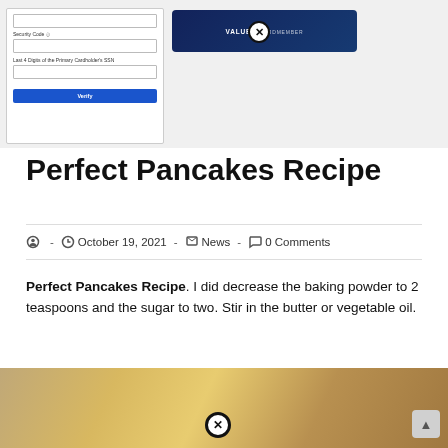[Figure (screenshot): Form screenshot showing Security Code field, Last 4 Digits of the Primary Cardholder's SSN field, and a blue Verify button. Alongside it, a dark blue credit card image labeled VALUED CARDMEMBER with a close (X) button overlay.]
Perfect Pancakes Recipe
October 19, 2021 · News · 0 Comments
Perfect Pancakes Recipe. I did decrease the baking powder to 2 teaspoons and the sugar to two. Stir in the butter or vegetable oil.
[Figure (photo): Partial photo of what appears to be syrup or oil being poured, with a close (X) button overlay at the bottom center.]